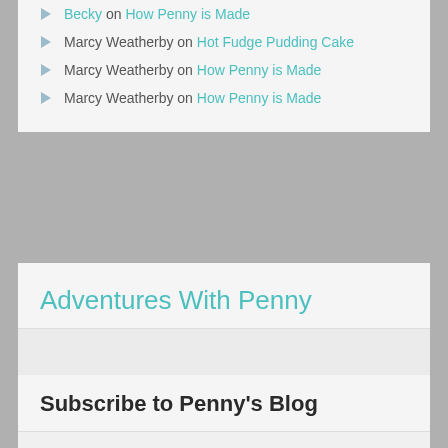Becky on How Penny is Made
Marcy Weatherby on Hot Fudge Pudding Cake
Marcy Weatherby on How Penny is Made
Marcy Weatherby on How Penny is Made
Adventures With Penny
Subscribe to Penny's Blog
Penny would love to send you an email whenever she adds new posts here to keep you up to date with her adventures. Add your email address here: